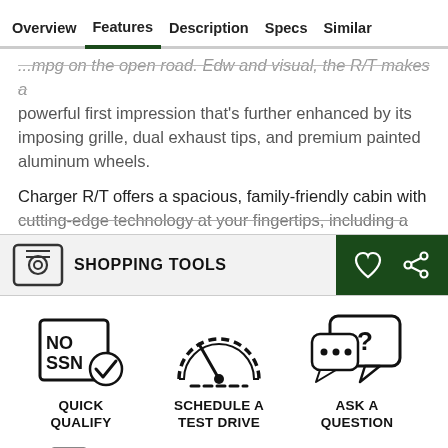Overview | Features | Description | Specs | Similar
...powerful first impression that's further enhanced by its imposing grille, dual exhaust tips, and premium painted aluminum wheels.
Charger R/T offers a spacious, family-friendly cabin with cutting-edge technology at your fingertips, including a
SHOPPING TOOLS
[Figure (infographic): Quick Qualify icon - NO SSN badge with checkmark]
QUICK QUALIFY
[Figure (infographic): Schedule a Test Drive icon - speedometer gauge]
SCHEDULE A TEST DRIVE
[Figure (infographic): Ask a Question icon - speech bubble with question mark]
ASK A QUESTION
[Figure (infographic): Text/message icon - mobile phone with chat bubbles]